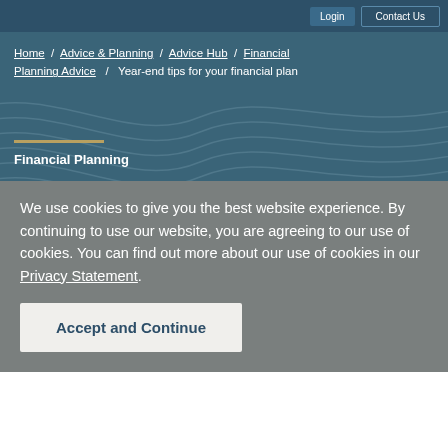Home / Advice & Planning / Advice Hub / Financial Planning Advice / Year-end tips for your financial plan
Financial Planning
Year-End Tips For
We use cookies to give you the best website experience. By continuing to use our website, you are agreeing to our use of cookies. You can find out more about our use of cookies in our Privacy Statement.
Accept and Continue